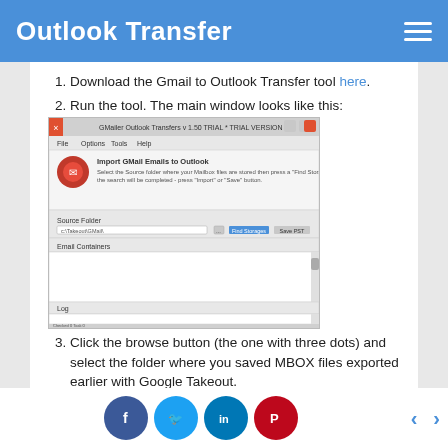Outlook Transfer
Download the Gmail to Outlook Transfer tool here.
Run the tool. The main window looks like this:
[Figure (screenshot): Screenshot of the Gmail to Outlook Importer tool main window showing Source Folder field, Find Storages and Save PST buttons, Email Containers list area, and Log area.]
Click the browse button (the one with three dots) and select the folder where you saved MBOX files exported earlier with Google Takeout.
Click the “Scan Folder” or “Find Storages” button. The program will scan the provided folder and locate all mailbox files in it.
Social sharing: Facebook, Twitter, LinkedIn, Pinterest